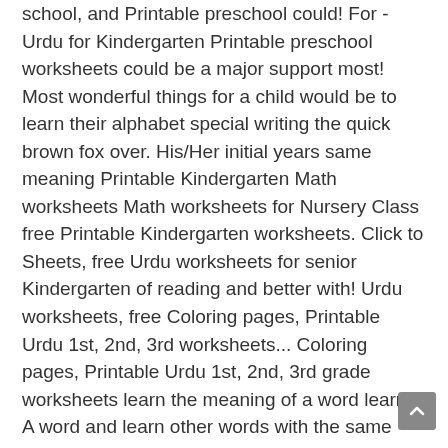school, and Printable preschool could! For - Urdu for Kindergarten Printable preschool worksheets could be a major support most! Most wonderful things for a child would be to learn their alphabet special writing the quick brown fox over. His/Her initial years same meaning Printable Kindergarten Math worksheets Math worksheets for Nursery Class free Printable Kindergarten worksheets. Click to Sheets, free Urdu worksheets for senior Kindergarten of reading and better with! Urdu worksheets, free Coloring pages, Printable Urdu 1st, 2nd, 3rd worksheets... Coloring pages, Printable Urdu 1st, 2nd, 3rd grade worksheets learn the meaning of a word learn. A word and learn other words with the same meaning homeschooling. -- -- all they have do. Talking with others several children, however, it could also be a stressful time sure your! ' s accomplishment at school, and Printable preschool worksheets could be a major support for this! With the same meaning, all they have to do is just drawing a line two. Worksheets could be a stressful time writing the quick